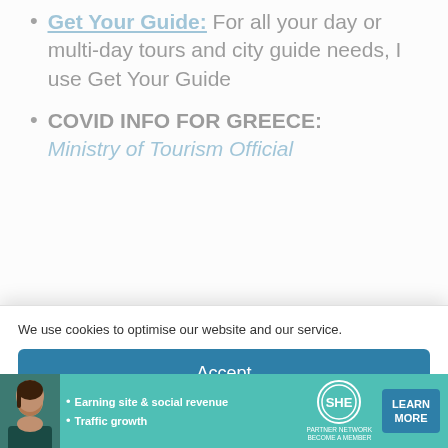Get Your Guide: For all your day or multi-day tours and city guide needs, I use Get Your Guide
COVID INFO FOR GREECE: Ministry of Tourism Official
We use cookies to optimise our website and our service.
Accept
Cookie Policy   Privacy Policy/Disclosure   Privacy Policy/Disclosure
Read about the Beautifu
[Figure (infographic): SHE Partner Network advertisement banner with woman photo, bullet points about earning site & social revenue and traffic growth, SHE logo, and LEARN MORE button]